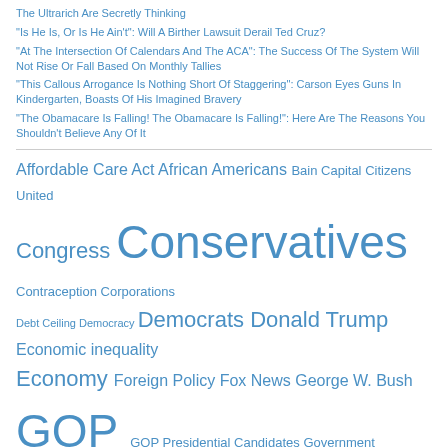The Ultrarich Are Secretly Thinking
"Is He Is, Or Is He Ain't": Will A Birther Lawsuit Derail Ted Cruz?
"At The Intersection Of Calendars And The ACA": The Success Of The System Will Not Rise Or Fall Based On Monthly Tallies
"This Callous Arrogance Is Nothing Short Of Staggering": Carson Eyes Guns In Kindergarten, Boasts Of His Imagined Bravery
"The Obamacare Is Falling! The Obamacare Is Falling!": Here Are The Reasons You Shouldn't Believe Any Of It
Affordable Care Act  African Americans  Bain Capital  Citizens United  Congress  Conservatives  Contraception  Corporations  Debt Ceiling  Democracy  Democrats  Donald Trump  Economic inequality  Economy  Foreign Policy  Fox News  George W. Bush  GOP  GOP Presidential Candidates  Government Shutdown  Gun Control  Gun Violence  Health Exchanges  Health Insurance  Hillary Clinton